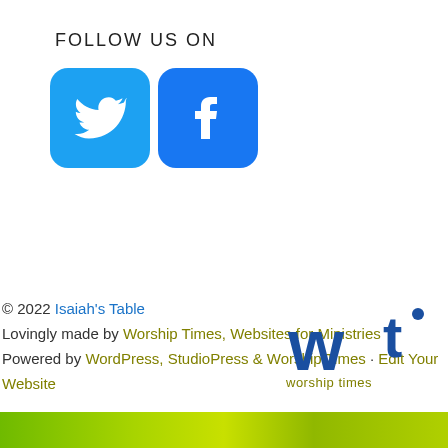FOLLOW US ON
[Figure (logo): Twitter and Facebook social media icon buttons]
© 2022 Isaiah's Table
Lovingly made by Worship Times, Websites for Ministries
Powered by WordPress, StudioPress & Worship Times · Edit Your Website
[Figure (logo): Worship Times logo with 'wt' in blue and 'worship times' in olive/green text]